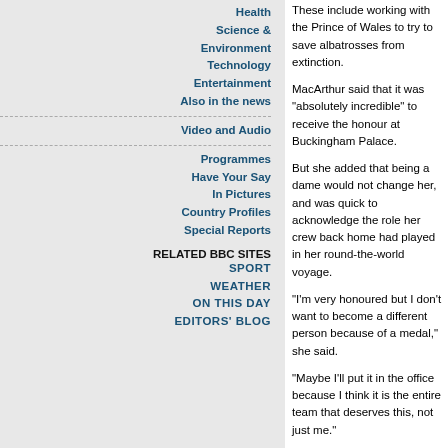Health
Science & Environment
Technology
Entertainment
Also in the news
Video and Audio
Programmes
Have Your Say
In Pictures
Country Profiles
Special Reports
RELATED BBC SITES
SPORT
WEATHER
ON THIS DAY
EDITORS' BLOG
These include working with the Prince of Wales to try to save albatrosses from extinction.
MacArthur said that it was "absolutely incredible" to receive the honour at Buckingham Palace.
But she added that being a dame would not change her, and was quick to acknowledge the role her crew back home had played in her round-the-world voyage.
"I'm very honoured but I don't want to become a different person because of a medal," she said.
"Maybe I'll put it in the office because I think it is the entire team that deserves this, not just me."
E-mail this to a friend   Printable version
PRODUCTS AND SERVICES
E-mail news | Mobiles | Alerts | News feeds | Podc...
News Front Page | Africa | Americas | Asia-Pacific | Europe | Middle East | South Asia
UK | Business | Entertainment | Science/Nature | Technology | Health
Have Your Say | In Pictures | Week at a Glance | Country Profiles | In Depth | Programmes
BBC MMIX
Help | Privacy and cookies policy | News sources | About the B...